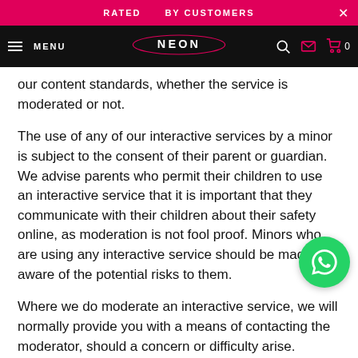RATED BY CUSTOMERS
[Figure (screenshot): Neon website navigation bar with hamburger menu, NEON logo, search, mail, and cart icons on black background]
our content standards, whether the service is moderated or not.
The use of any of our interactive services by a minor is subject to the consent of their parent or guardian. We advise parents who permit their children to use an interactive service that it is important that they communicate with their children about their safety online, as moderation is not fool proof. Minors who are using any interactive service should be made aware of the potential risks to them.
Where we do moderate an interactive service, we will normally provide you with a means of contacting the moderator, should a concern or difficulty arise.
Content standards
These content standards apply to any and all material contributed to